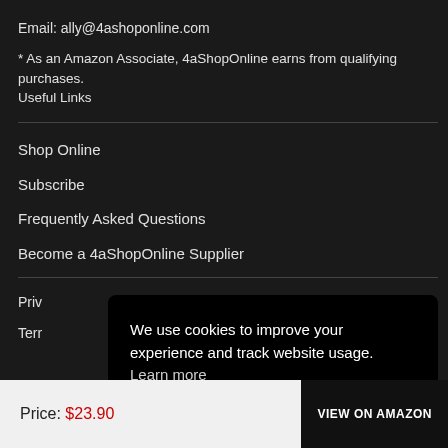Email: ally@4ashoponline.com
* As an Amazon Associate, 4aShopOnline earns from qualifying purchases.
Useful Links
Shop Online
Subscribe
Frequently Asked Questions
Become a 4aShopOnline Supplier
Priv[acy Policy]
Terr[ms of Service]
[Figure (screenshot): Cookie consent overlay popup on black background with text: 'We use cookies to improve your experience and track website usage. Learn more' and a red 'Got it!' button]
Price: $23.90
VIEW ON AMAZON